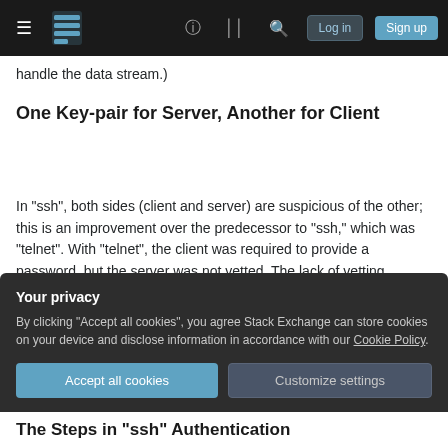Stack Exchange navigation bar with hamburger menu, logo, help, chat, search, Log in, Sign up
handle the data stream.)
One Key-pair for Server, Another for Client
In "ssh", both sides (client and server) are suspicious of the other; this is an improvement over the predecessor to "ssh," which was "telnet". With "telnet", the client was required to provide a password, but the server was not vetted. The lack of vetting allowed "man-in-the-middle" attacks to occur,
Your privacy
By clicking "Accept all cookies", you agree Stack Exchange can store cookies on your device and disclose information in accordance with our Cookie Policy.
Accept all cookies   Customize settings
The Steps in "ssh" Authentication